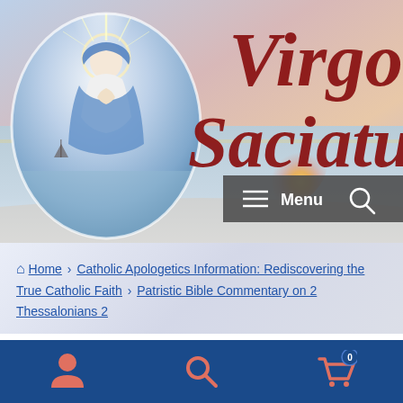[Figure (illustration): Website header banner with a beach/ocean sunset background. A circular image of the Virgin Mary (Our Lady of Grace) is on the left. Large italic red cursive text 'Virgo Saciatu' appears on the right. A dark menu bar with hamburger menu and search icon is visible at upper right.]
Virgo Saciatu — Menu ☰ 🔍
🏠 Home › Catholic Apologetics Information: Rediscovering the True Catholic Faith › Patristic Bible Commentary on 2 Thessalonians 2
Patristic Bible Commentary on 2